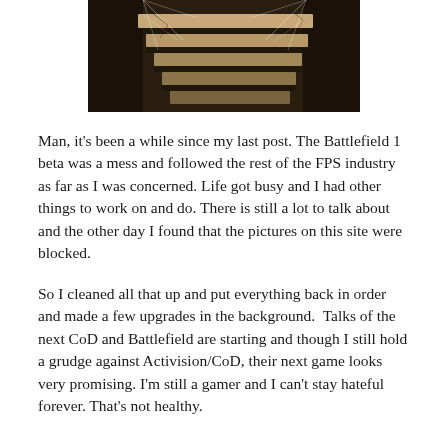[Figure (photo): Sepia-toned photograph of stone stairs with cobwebs and cracked wall texture]
Man, it's been a while since my last post. The Battlefield 1 beta was a mess and followed the rest of the FPS industry as far as I was concerned. Life got busy and I had other things to work on and do. There is still a lot to talk about and the other day I found that the pictures on this site were blocked.
So I cleaned all that up and put everything back in order and made a few upgrades in the background.  Talks of the next CoD and Battlefield are starting and though I still hold a grudge against Activision/CoD, their next game looks very promising. I’m still a gamer and I can’t stay hateful forever. That’s not healthy.